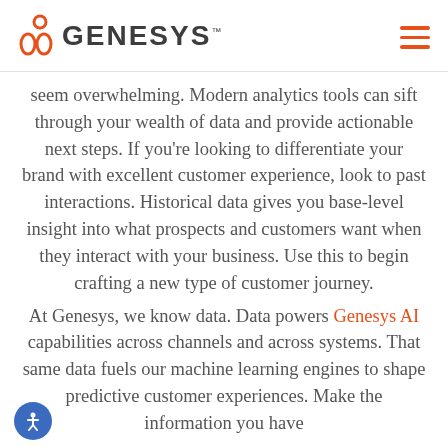GENESYS
seem overwhelming. Modern analytics tools can sift through your wealth of data and provide actionable next steps. If you're looking to differentiate your brand with excellent customer experience, look to past interactions. Historical data gives you base-level insight into what prospects and customers want when they interact with your business. Use this to begin crafting a new type of customer journey.
At Genesys, we know data. Data powers Genesys AI capabilities across channels and across systems. That same data fuels our machine learning engines to shape predictive customer experiences. Make the information you have